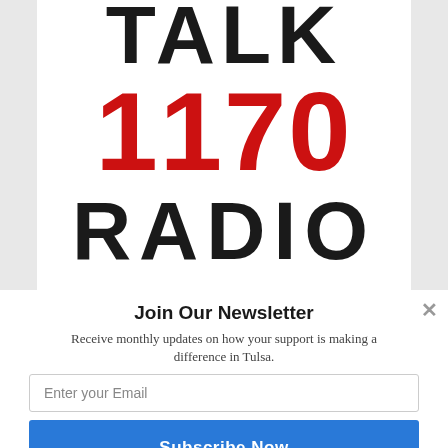[Figure (logo): Talk 1170 Radio logo with TALK in black, 1170 in red, and RADIO in black bold text on white background]
Join Our Newsletter
Receive monthly updates on how your support is making a difference in Tulsa.
Enter your Email
Subscribe Now